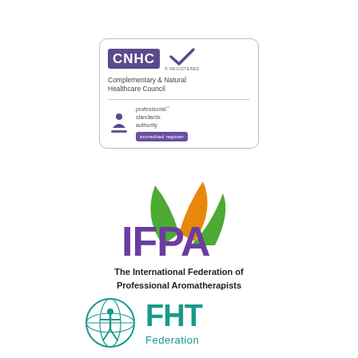[Figure (logo): CNHC (Complementary & Natural Healthcare Council) registered logo with Professional Standards Authority accredited register badge]
[Figure (logo): IFPA - The International Federation of Professional Aromatherapists logo with green and orange leaf design above purple IFPA lettering]
[Figure (logo): FHT Federation logo with teal globe icon featuring human figure and FHT text in teal]